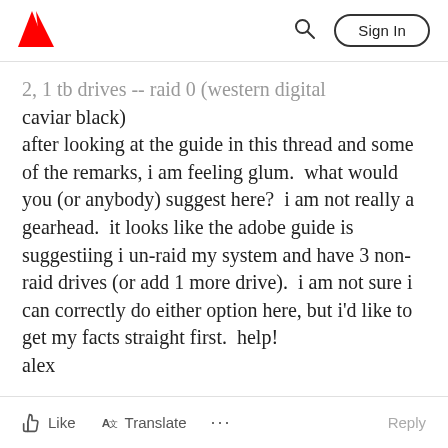Adobe | Sign In
2, 1 tb drives -- raid 0 (western digital caviar black)
after looking at the guide in this thread and some of the remarks, i am feeling glum.  what would you (or anybody) suggest here?  i am not really a gearhead.  it looks like the adobe guide is suggestiing i un-raid my system and have 3 non-raid drives (or add 1 more drive).  i am not sure i can correctly do either option here, but i'd like to get my facts straight first.  help!
alex
Like  Translate  ...  Reply